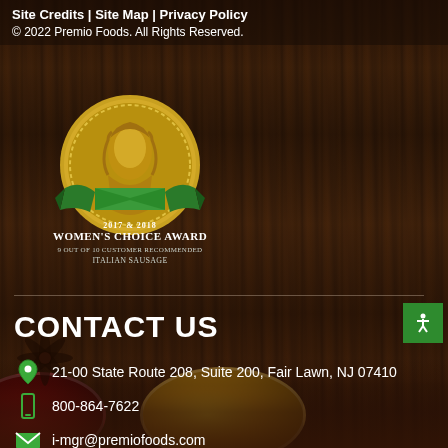Site Credits | Site Map | Privacy Policy
© 2022 Premio Foods. All Rights Reserved.
[Figure (logo): Women's Choice Award gold medal logo with green ribbon, 2017 & 2018, 9 out of 10 customer recommended Italian Sausage]
CONTACT US
21-00 State Route 208, Suite 200, Fair Lawn, NJ 07410
800-864-7622
i-mgr@premiofoods.com